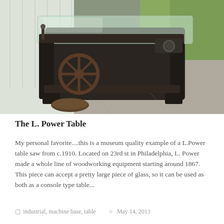[Figure (photo): An antique industrial L. Power table saw base from c.1910, repurposed as a console table with a glass top. The heavy cast iron machine base features a large spoked wheel and mechanical components. Photographed outdoors on a concrete driveway with a white wall and grass in the background.]
The L. Power Table
My personal favorite....this is a museum quality example of a L.Power table saw from c.1910. Located on 23rd st in Philadelphia, L. Power made a whole line of woodworking equipment starting around 1867. This piece can accept a pretty large piece of glass, so it can be used as both as a console type table...
industrial, machine base, table   May 14, 2013